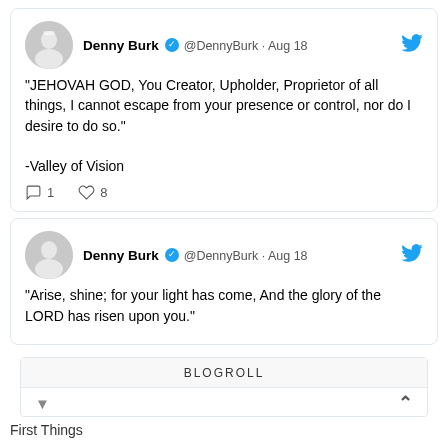Denny Burk @DennyBurk · Aug 18
"JEHOVAH GOD, You Creator, Upholder, Proprietor of all things, I cannot escape from your presence or control, nor do I desire to do so."

-Valley of Vision

♡ 1  ♡ 8
Denny Burk @DennyBurk · Aug 18
"Arise, shine; for your light has come, And the glory of the LORD has risen upon you."
BLOGROLL
First Things
Jim Hamilton
Justin Taylor